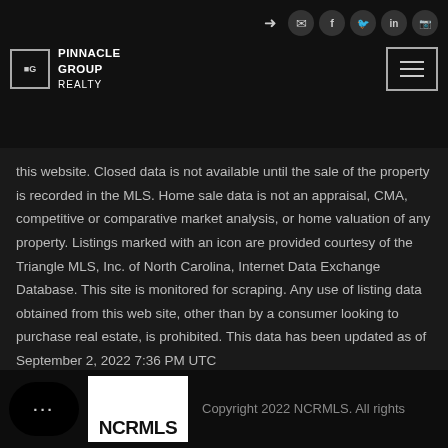Pinnacle Group Realty — navigation header with social icons
this website. Closed data is not available until the sale of the property is recorded in the MLS. Home sale data is not an appraisal, CMA, competitive or comparative market analysis, or home valuation of any property. Listings marked with an icon are provided courtesy of the Triangle MLS, Inc. of North Carolina, Internet Data Exchange Database. This site is monitored for scraping. Any use of listing data obtained from this web site, other than by a consumer looking to purchase real estate, is prohibited. This data has been updated as of September 2, 2022 7:36 PM UTC
Copyright 2022 NCRMLS. All rights